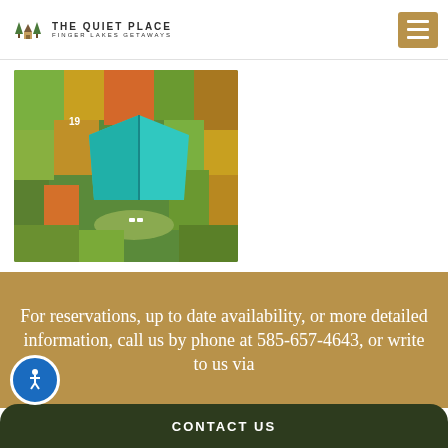THE QUIET PLACE — FINGER LAKES GETAWAYS
[Figure (photo): Aerial drone photo of a small cabin with a turquoise/teal roof surrounded by colorful autumn foliage trees]
For reservations, up to date availability, or more detailed information, call us by phone at 585-657-4643, or write to us via
CONTACT US